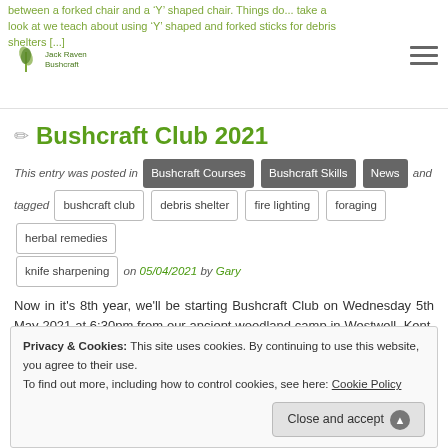between a forked chair and a 'Y' shaped chair. Things do... take a look at we teach about using 'Y' shaped and forked sticks for debris shelters [...]
Bushcraft Club 2021
This entry was posted in Bushcraft Courses Bushcraft Skills News and tagged bushcraft club debris shelter fire lighting foraging herbal remedies knife sharpening on 05/04/2021 by Gary
Now in it's 8th year, we'll be starting Bushcraft Club on Wednesday 5th May 2021 at 6:30pm from our ancient woodland camp in Westwell, Kent, just a few miles from Ashford. Bushcraft Club is for
Privacy & Cookies: This site uses cookies. By continuing to use this website, you agree to their use. To find out more, including how to control cookies, see here: Cookie Policy
Close and accept